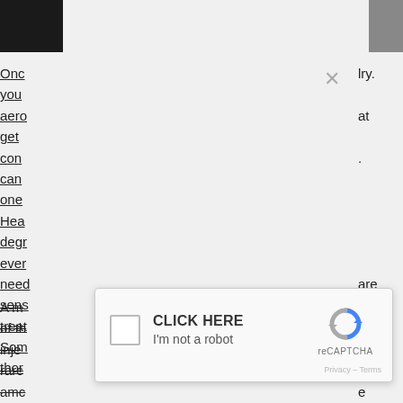[Figure (screenshot): A browser screenshot showing a webpage partially obscured by a reCAPTCHA modal dialog. The modal contains a checkbox, 'CLICK HERE' text, 'I'm not a robot' text, a reCAPTCHA logo, and 'Privacy - Terms' text. Behind the modal, partially visible text from a medical article is shown on the left and right edges. A close (X) button appears in the upper right of the modal area.]